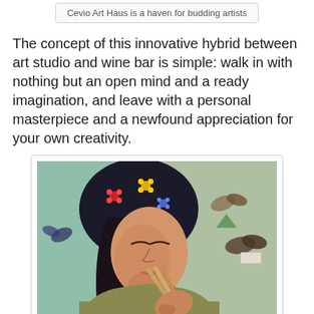Cevio Art Haus is a haven for budding artists
The concept of this innovative hybrid between art studio and wine bar is simple: walk in with nothing but an open mind and a ready imagination, and leave with a personal masterpiece and a newfound appreciation for your own creativity.
[Figure (photo): Painting or artwork depicting a young girl with long dark hair wearing a floral-patterned head covering, holding multiple paint brushes, with butterflies and nature elements in the background.]